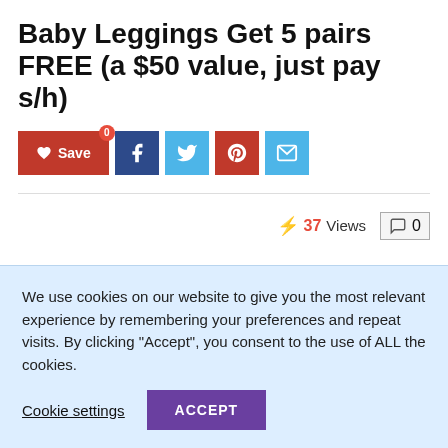Baby Leggings Get 5 pairs FREE (a $50 value, just pay s/h)
[Figure (screenshot): Social sharing buttons: Save (heart icon), Facebook, Twitter, Pinterest, Email]
37 Views  0
We use cookies on our website to give you the most relevant experience by remembering your preferences and repeat visits. By clicking "Accept", you consent to the use of ALL the cookies.
Cookie settings  ACCEPT